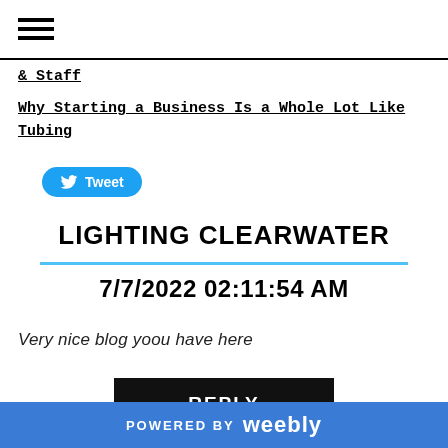≡
& Staff
Why Starting a Business Is a Whole Lot Like Tubing
[Figure (other): Twitter Tweet button with bird icon]
LIGHTING CLEARWATER
7/7/2022 02:11:54 AM
Very nice blog yoou have here
REPLY
POWERED BY weebly